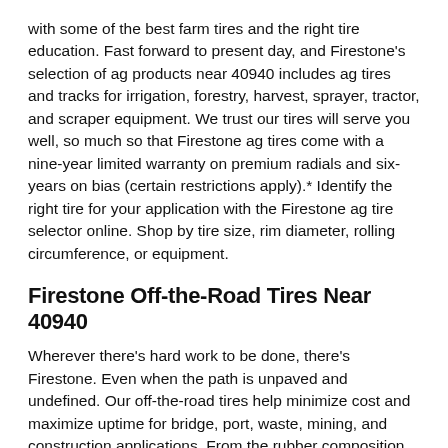with some of the best farm tires and the right tire education. Fast forward to present day, and Firestone's selection of ag products near 40940 includes ag tires and tracks for irrigation, forestry, harvest, sprayer, tractor, and scraper equipment. We trust our tires will serve you well, so much so that Firestone ag tires come with a nine-year limited warranty on premium radials and six-years on bias (certain restrictions apply).* Identify the right tire for your application with the Firestone ag tire selector online. Shop by tire size, rim diameter, rolling circumference, or equipment.
Firestone Off-the-Road Tires Near 40940
Wherever there's hard work to be done, there's Firestone. Even when the path is unpaved and undefined. Our off-the-road tires help minimize cost and maximize uptime for bridge, port, waste, mining, and construction applications. From the rubber composition to the tread blocks, Firestone off-the-road tires are designed to be durable and versatile. VersaBuilt tires are a perfect example. VersaBuilt heavy-equipment tires will help you get the job done, no matter how harsh the conditions. Steel casings and SideArmor™ sidewalls help protect against cuts and punctures, while non-directional tread gives extra traction. In the